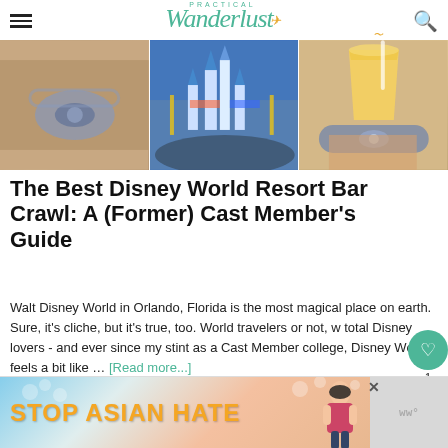Practical Wanderlust
[Figure (photo): Three-panel hero image: left panel shows wristbands/MagicBands at a Disney park, center panel shows Cinderella Castle with festival decorations and crowd, right panel shows a person holding a yellow drink with a MagicBand on wrist.]
The Best Disney World Resort Bar Crawl: A (Former) Cast Member's Guide
Walt Disney World in Orlando, Florida is the most magical place on earth. Sure, it's cliche, but it's true, too. World travelers or not, w total Disney lovers - and ever since my stint as a Cast Member college, Disney World feels a bit like … [Read more...]
[Figure (photo): What's Next panel showing a brewery photo thumbnail and text '32 Best Breweries,...']
[Figure (photo): Second article image row — three panels showing travel destinations]
[Figure (infographic): Advertisement banner: 'STOP ASIAN HATE' with floral design and an illustrated person]